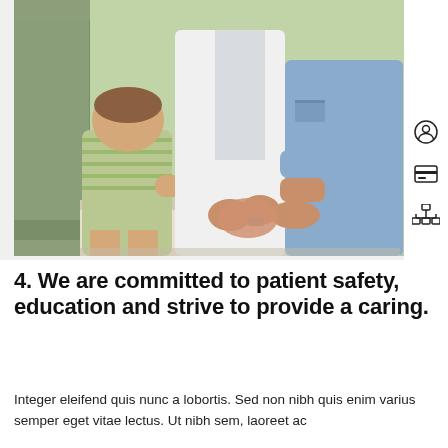[Figure (photo): A child sitting on an examination table with a doctor in a white coat and a parent or guardian (wearing a denim shirt) shaking or holding hands, in a medical clinic setting with green background.]
4. We are committed to patient safety, education and strive to provide a caring.
Integer eleifend quis nunc a lobortis. Sed non nibh quis enim varius semper eget vitae lectus. Ut nibh sem, laoreet ac